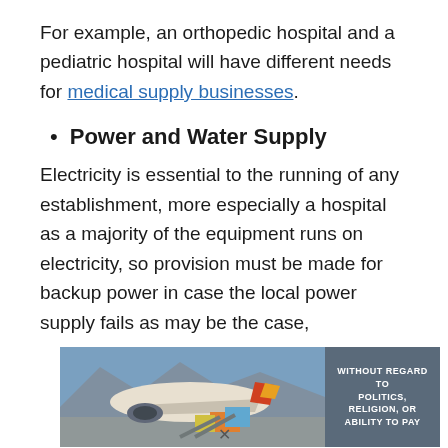For example, an orthopedic hospital and a pediatric hospital will have different needs for medical supply businesses.
Power and Water Supply
Electricity is essential to the running of any establishment, more especially a hospital as a majority of the equipment runs on electricity, so provision must be made for backup power in case the local power supply fails as may be the case,
[Figure (photo): Advertisement banner showing cargo being loaded onto an aircraft with text overlay 'WITHOUT REGARD TO POLITICS, RELIGION, OR ABILITY TO PAY']